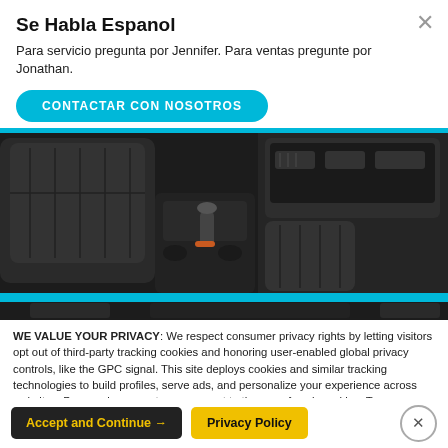Se Habla Espanol
Para servicio pregunta por Jennifer. Para ventas pregunte por Jonathan.
CONTACTAR CON NOSOTROS
[Figure (photo): Car interior showing leather seats, center console, and dashboard]
WE VALUE YOUR PRIVACY: We respect consumer privacy rights by letting visitors opt out of third-party tracking cookies and honoring user-enabled global privacy controls, like the GPC signal. This site deploys cookies and similar tracking technologies to build profiles, serve ads, and personalize your experience across websites. By pressing accept, you consent to the use of such cookies. To manage your privacy rights or view the categories of personal information we collect and the purposes for which the information is used, click here.
Language: English  Powered by ComplyAuto
Accept and Continue →  Privacy Policy